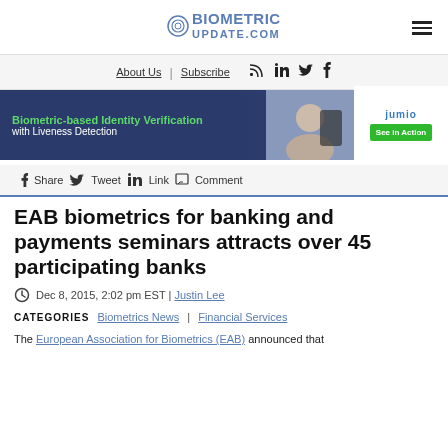BIOMETRIC UPDATE.COM
About Us | Subscribe
[Figure (screenshot): Advertisement banner: Biometric-based Identity Verification with Liveness Detection - Jumio See in Action]
Share  Tweet  Link  Comment
EAB biometrics for banking and payments seminars attracts over 45 participating banks
Dec 8, 2015, 2:02 pm EST | Justin Lee
CATEGORIES  Biometrics News | Financial Services
The European Association for Biometrics (EAB) announced that